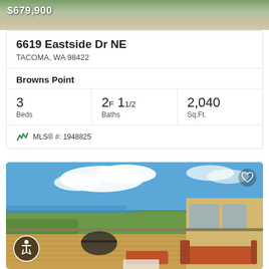[Figure (photo): Top partial property photo showing exterior/interior of home with price overlay]
6619 Eastside Dr NE
TACOMA, WA 98422
Browns Point
| Beds | Baths | Sq.Ft. |
| --- | --- | --- |
| 3 | 2F 11/2 | 2,040 |
MLS® #: 1948825
[Figure (photo): Exterior photo of home showing large deck with orange/red outdoor furniture, view of water and green landscape, blue sky with clouds]